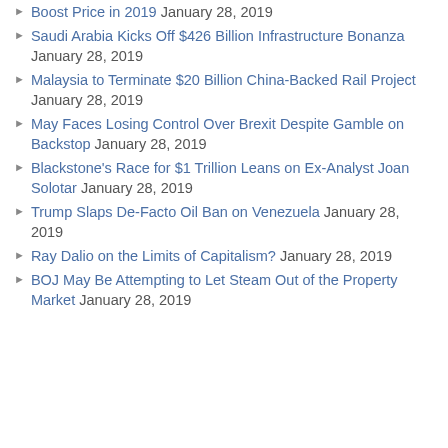Boost Price in 2019 January 28, 2019
Saudi Arabia Kicks Off $426 Billion Infrastructure Bonanza January 28, 2019
Malaysia to Terminate $20 Billion China-Backed Rail Project January 28, 2019
May Faces Losing Control Over Brexit Despite Gamble on Backstop January 28, 2019
Blackstone's Race for $1 Trillion Leans on Ex-Analyst Joan Solotar January 28, 2019
Trump Slaps De-Facto Oil Ban on Venezuela January 28, 2019
Ray Dalio on the Limits of Capitalism? January 28, 2019
BOJ May Be Attempting to Let Steam Out of the Property Market January 28, 2019